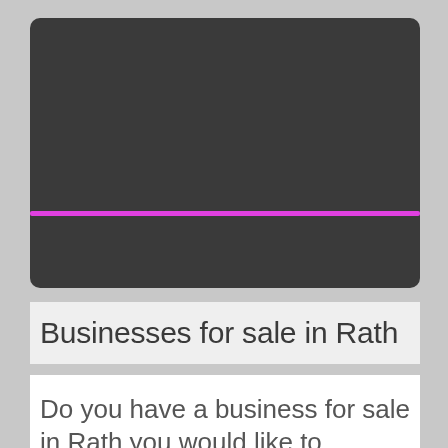[Figure (other): Dark grey rounded rectangle panel with a horizontal magenta/pink line across it, resembling a video player placeholder]
Businesses for sale in Rath
Do you have a business for sale in Rath you would like to advertise?